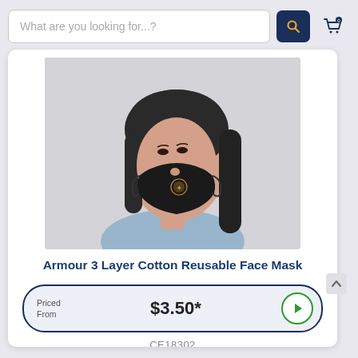What are you looking for...?
[Figure (photo): A woman wearing a black 3-layer cotton reusable face mask with a gold emblem logo, shown in profile view against a light background, with long dark hair and wearing a blue top.]
Armour 3 Layer Cotton Reusable Face Mask
Priced From  $3.50*
CE18302